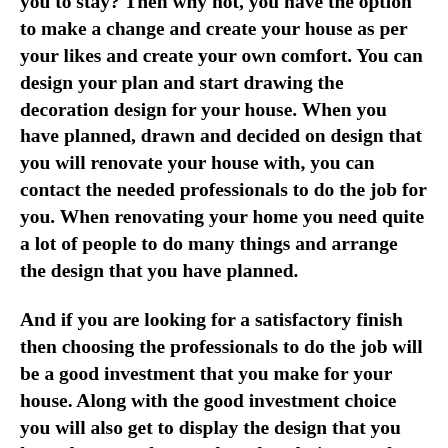look more like home and more comfortable for you to stay? Then why not, you have the option to make a change and create your house as per your likes and create your own comfort. You can design your plan and start drawing the decoration design for your house. When you have planned, drawn and decided on design that you will renovate your house with, you can contact the needed professionals to do the job for you. When renovating your home you need quite a lot of people to do many things and arrange the design that you have planned.
And if you are looking for a satisfactory finish then choosing the professionals to do the job will be a good investment that you make for your house. Along with the good investment choice you will also get to display the design that you have drawn and not go by other designers who force their view on you when you select designs. From ceiling to floor you should choose details to complete your house and to decorate it with the planned touches of design. If you are looking for comfortable styles to use in your